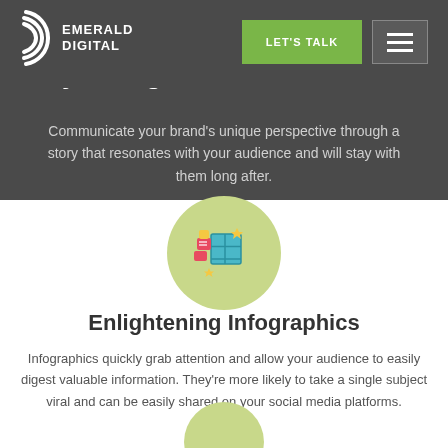[Figure (logo): Emerald Digital logo with arc/wave icon and text EMERALD DIGITAL in white]
Story-telling Vi...
Communicate your brand's unique perspective through a story that resonates with your audience and will stay with them long after.
[Figure (illustration): Green circle with infographic/grid icon illustration showing colorful sticky notes and table grid]
Enlightening Infographics
Infographics quickly grab attention and allow your audience to easily digest valuable information. They're more likely to take a single subject viral and can be easily shared on your social media platforms.
[Figure (illustration): Partial green circle visible at bottom of page]